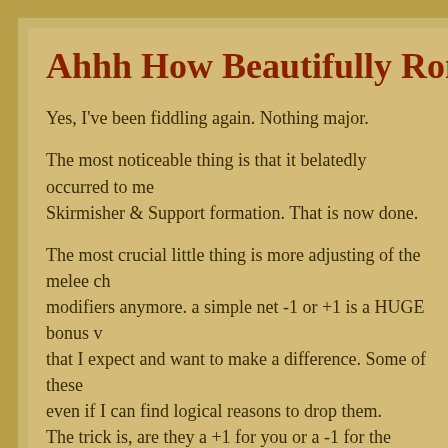Ahhh How Beautifully Rome Bur…
Yes, I've been fiddling again. Nothing major.
The most noticeable thing is that it belatedly occurred to me… Skirmisher & Support formation. That is now done.
The most crucial little thing is more adjusting of the melee ch… modifiers anymore. a simple net -1 or +1 is a HUGE bonus v… that I expect and want to make a difference. Some of these … even if I can find logical reasons to drop them.
The trick is, are they a +1 for you or a -1 for the other guy. T…
These include:
a) troop quality. One can argue that the morale system cons… the day I want the Grenadiers to have a better chance of wi…